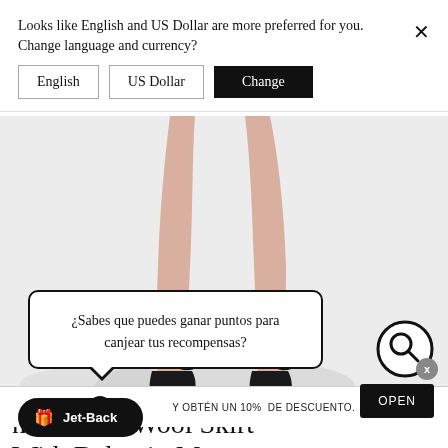Looks like English and US Dollar are more preferred for you. Change language and currency?
English
US Dollar
Change
[Figure (photo): Close-up photo of female feet wearing black strappy flat sandals on a light grey/white background with soft shadow]
¿Sabes que puedes ganar puntos para canjear tus recompensas?
... Y OBTÉN UN 10% DE DESCUENTO.
OPEN
Jet-Back
n W Short Wool Skirt With Balmain Monogram